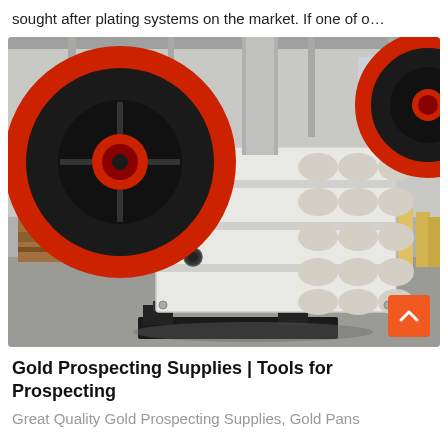sought after plating systems on the market. If one of o…
[Figure (photo): Industrial jaw crusher machine with large red and black flywheels, white painted heavy-duty metal body with bolted frame sections, photographed in a factory warehouse setting. A back-to-top navigation button (orange with upward arrow) is overlaid at the bottom-right corner.]
Gold Prospecting Supplies | Tools for Prospecting
Great Quality Gold Prospecting Supplies, Gold Pans